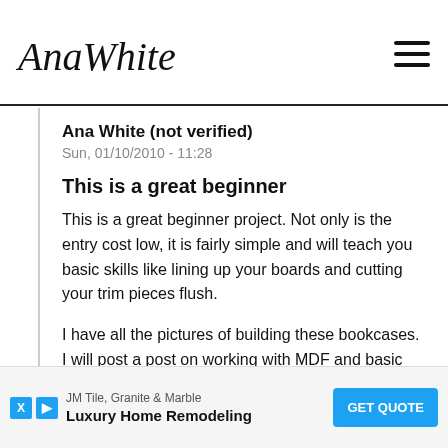Ana White
Ana White (not verified)
Sun, 01/10/2010 - 11:28
This is a great beginner
This is a great beginner project. Not only is the entry cost low, it is fairly simple and will teach you basic skills like lining up your boards and cutting your trim pieces flush.

I have all the pictures of building these bookcases. I will post a post on working with MDF and basic construction skills, so check back.

Good luck, and thank you all for commenting and sto...
[Figure (infographic): Advertisement banner for JM Tile, Granite & Marble - Luxury Home Remodeling with GET QUOTE button]